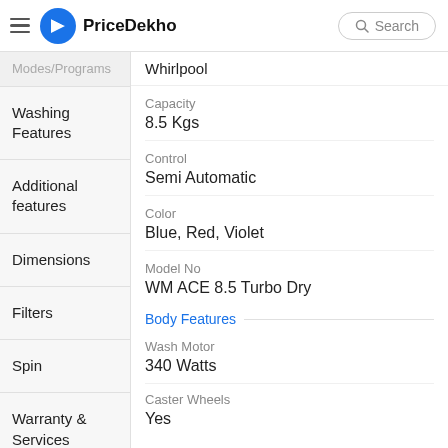PriceDekho | Search
Modes/Programs
Whirlpool
Washing Features
Capacity
8.5 Kgs
Control
Semi Automatic
Additional features
Color
Blue, Red, Violet
Model No
WM ACE 8.5 Turbo Dry
Dimensions
Filters
Spin
Warranty & Services
Body Features
Wash Motor
340 Watts
Caster Wheels
Yes